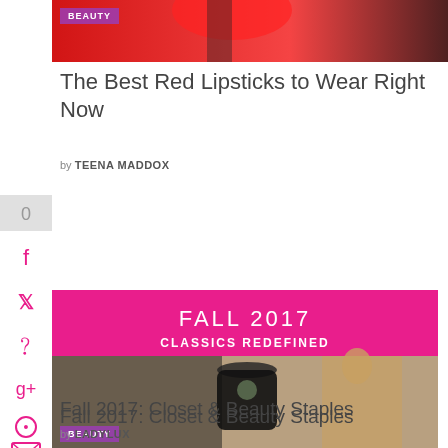[Figure (photo): Red lipstick close-up image with BEAUTY badge]
The Best Red Lipsticks to Wear Right Now
by TEENA MADDOX
[Figure (photo): Fall 2017 Classics Redefined banner ad with fashion photo showing handbag and model, BEAUTY badge]
Fall 2017: Closet & Beauty Staples
by LADYLUX